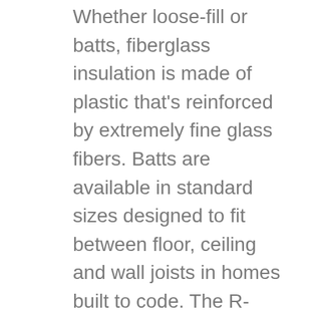Whether loose-fill or batts, fiberglass insulation is made of plastic that's reinforced by extremely fine glass fibers. Batts are available in standard sizes designed to fit between floor, ceiling and wall joists in homes built to code. The R-value for medium-density batts is about R-3 or a little above.
Loose-fill fiberglass insulation is installed using a blowing machine and is useful in areas where batts aren't suitable. Manufacturers today make loose-fill a little more environmentally friendly by using 20 to 30% recycled glass that is spun into fibers. You can expect an R-value of about R-2.2 to